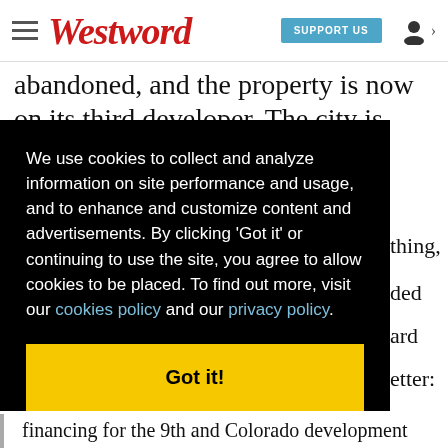Westword | SUPPORT US
abandoned, and the property is now on its third developer. The city is ready for something,
We use cookies to collect and analyze information on site performance and usage, and to enhance and customize content and advertisements. By clicking 'Got it' or continuing to use the site, you agree to allow cookies to be placed. To find out more, visit our cookies policy and our privacy policy.
Got it!
financing for the 9th and Colorado development